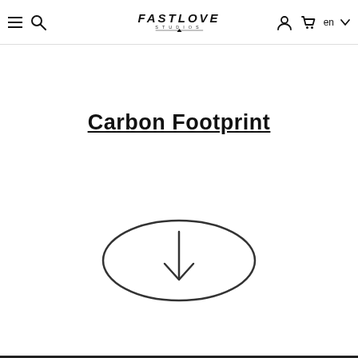FASTLOVE STUDIOS — navigation bar with menu, search, logo, account, cart, language selector
Carbon Footprint
[Figure (illustration): An oval/ellipse outline with a downward-pointing arrow inside it, indicating scrolling down or a downward action.]